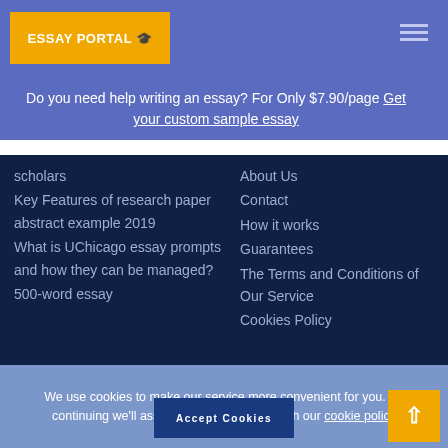[Figure (logo): Essay Portal logo with graduation cap icon on yellow background]
Do you need help writing an essay? For Only $7.90/page Get your custom sample essay
scholars
Key Features of research paper abstract example 2019
What is UChicago essay prompts and how they can be managed?
500-word essay
About Us
Contact
How it works
Guarantees
The Terms and Conditions of Our Service
Cookies Policy
We use cookies to make our service more convenient for you. By continuing we'll assume you're on board with our cookie policy